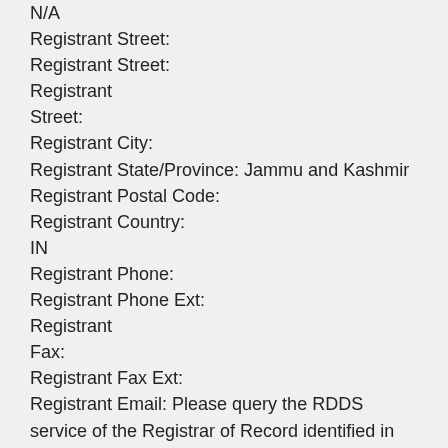N/A
Registrant Street:
Registrant Street:
Registrant
Street:
Registrant City:
Registrant State/Province: Jammu and Kashmir
Registrant Postal Code:
Registrant Country:
IN
Registrant Phone:
Registrant Phone Ext:
Registrant
Fax:
Registrant Fax Ext:
Registrant Email: Please query the RDDS service of the Registrar of Record identified in this output for information on how to contact the Registrant, Admin, or Tech contact of the queried domain name.
Registry Admin ID:
Admin
Name:
Admin Organization:
Admin Street:
Admin